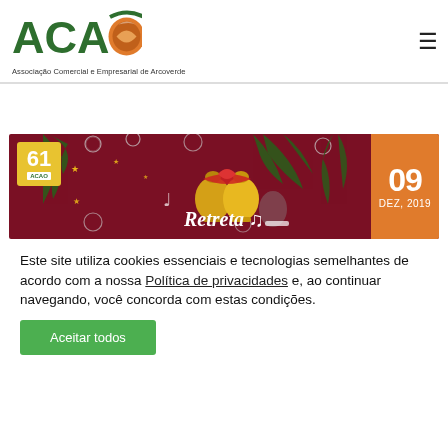[Figure (logo): ACAS logo with green letters and orange diamond shape, text: Associação Comercial e Empresarial de Arcoverde]
[Figure (illustration): Christmas event banner with dark red background, golden bells, pine branches, ornament balls, musical notes, number 09 in orange badge, DEZ, 2019, and text Retreta. Left badge shows 61 ACAS.]
Este site utiliza cookies essenciais e tecnologias semelhantes de acordo com a nossa Política de privacidades e, ao continuar navegando, você concorda com estas condições.
Aceitar todos